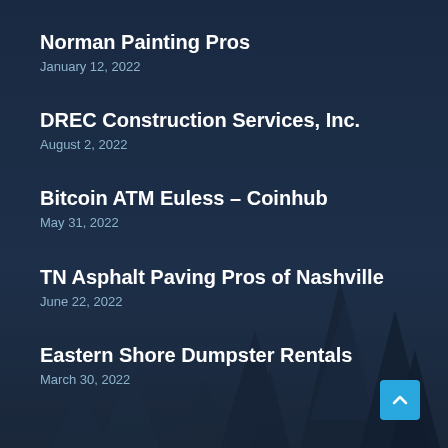Norman Painting Pros
January 12, 2022
DREC Construction Services, Inc.
August 2, 2022
Bitcoin ATM Euless – Coinhub
May 31, 2022
TN Asphalt Paving Pros of Nashville
June 22, 2022
Eastern Shore Dumpster Rentals
March 30, 2022